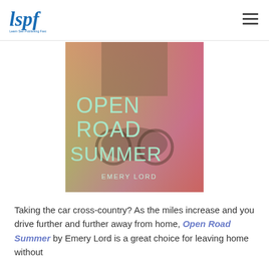Learn Self Publishing Fast (LSPF) logo and navigation
[Figure (photo): Book cover of 'Open Road Summer' by Emery Lord, showing large mint-green text on a background image of people near a bicycle in a summery field.]
Taking the car cross-country? As the miles increase and you drive further and further away from home, Open Road Summer by Emery Lord is a great choice for leaving home without